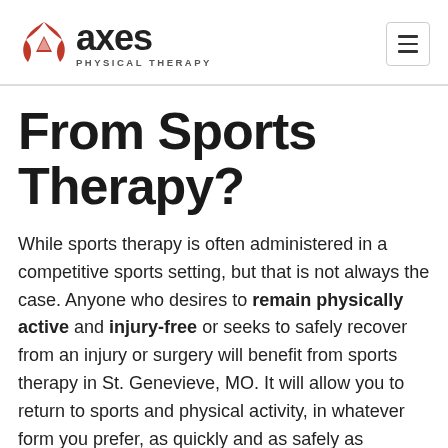axes PHYSICAL THERAPY
From Sports Therapy?
While sports therapy is often administered in a competitive sports setting, but that is not always the case. Anyone who desires to remain physically active and injury-free or seeks to safely recover from an injury or surgery will benefit from sports therapy in St. Genevieve, MO. It will allow you to return to sports and physical activity, in whatever form you prefer, as quickly and as safely as